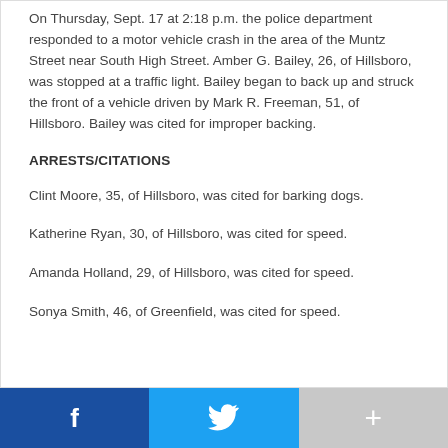On Thursday, Sept. 17 at 2:18 p.m. the police department responded to a motor vehicle crash in the area of the Muntz Street near South High Street. Amber G. Bailey, 26, of Hillsboro, was stopped at a traffic light. Bailey began to back up and struck the front of a vehicle driven by Mark R. Freeman, 51, of Hillsboro. Bailey was cited for improper backing.
ARRESTS/CITATIONS
Clint Moore, 35, of Hillsboro, was cited for barking dogs.
Katherine Ryan, 30, of Hillsboro, was cited for speed.
Amanda Holland, 29, of Hillsboro, was cited for speed.
Sonya Smith, 46, of Greenfield, was cited for speed.
[Figure (infographic): Social sharing bar with Facebook (blue), Twitter (cyan), and a gray plus/more button]